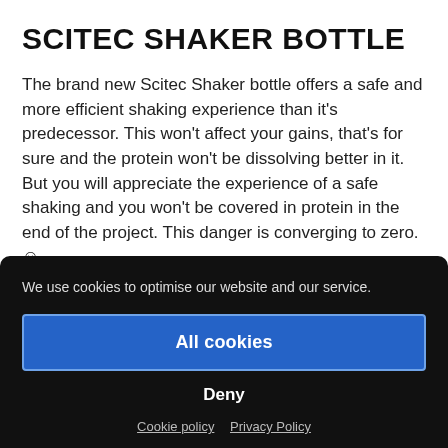SCITEC SHAKER BOTTLE
The brand new Scitec Shaker bottle offers a safe and more efficient shaking experience than it's predecessor. This won't affect your gains, that's for sure and the protein won't be dissolving better in it. But you will appreciate the experience of a safe shaking and you won't be covered in protein in the end of the project. This danger is converging to zero. ☺
Share it breathe t...
We use cookies to optimise our website and our service.
All cookies
Deny
Cookie policy   Privacy Policy